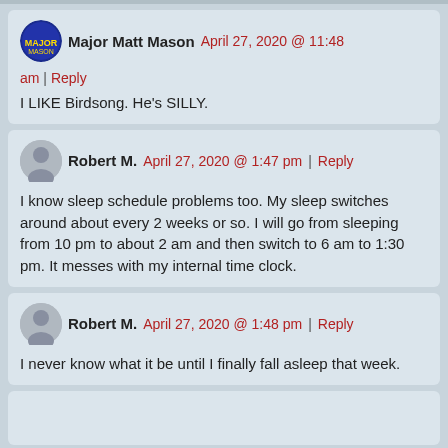Major Matt Mason   April 27, 2020 @ 11:48 am | Reply

I LIKE Birdsong. He's SILLY.
Robert M.   April 27, 2020 @ 1:47 pm | Reply

I know sleep schedule problems too. My sleep switches around about every 2 weeks or so. I will go from sleeping from 10 pm to about 2 am and then switch to 6 am to 1:30 pm. It messes with my internal time clock.
Robert M.   April 27, 2020 @ 1:48 pm | Reply

I never know what it be until I finally fall asleep that week.